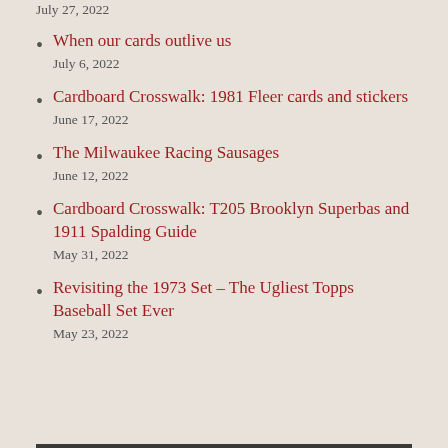July 27, 2022
When our cards outlive us
July 6, 2022
Cardboard Crosswalk: 1981 Fleer cards and stickers
June 17, 2022
The Milwaukee Racing Sausages
June 12, 2022
Cardboard Crosswalk: T205 Brooklyn Superbas and 1911 Spalding Guide
May 31, 2022
Revisiting the 1973 Set – The Ugliest Topps Baseball Set Ever
May 23, 2022